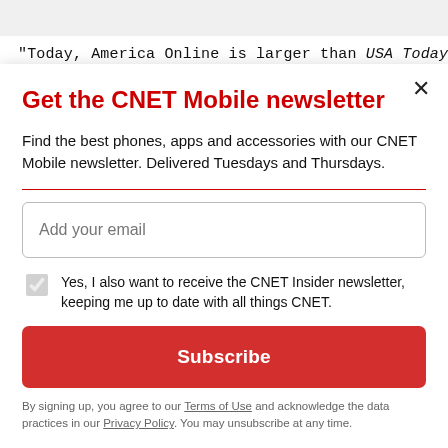"Today, America Online is larger than USA Today, Wall
Get the CNET Mobile newsletter
Find the best phones, apps and accessories with our CNET Mobile newsletter. Delivered Tuesdays and Thursdays.
Add your email
Yes, I also want to receive the CNET Insider newsletter, keeping me up to date with all things CNET.
Subscribe
By signing up, you agree to our Terms of Use and acknowledge the data practices in our Privacy Policy. You may unsubscribe at any time.